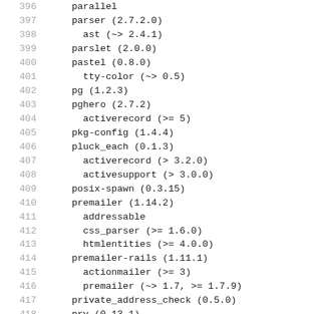396   parallel
397   parser (2.7.2.0)
398     ast (~> 2.4.1)
399   parslet (2.0.0)
400   pastel (0.8.0)
401     tty-color (~> 0.5)
402   pg (1.2.3)
403   pghero (2.7.2)
404     activerecord (>= 5)
405   pkg-config (1.4.4)
406   pluck_each (0.1.3)
407     activerecord (> 3.2.0)
408     activesupport (> 3.0.0)
409   posix-spawn (0.3.15)
410   premailer (1.14.2)
411     addressable
412     css_parser (>= 1.6.0)
413     htmlentities (>= 4.0.0)
414   premailer-rails (1.11.1)
415     actionmailer (>= 3)
416     premailer (~> 1.7, >= 1.7.9)
417   private_address_check (0.5.0)
418   pry (0.13.1)